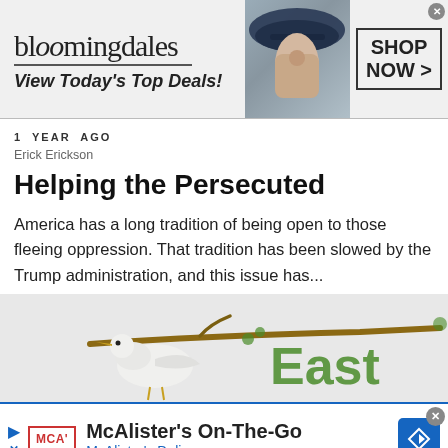[Figure (screenshot): Bloomingdale's advertisement banner showing logo, 'View Today's Top Deals!' tagline, a woman wearing a hat, and a 'SHOP NOW >' button]
1 YEAR AGO
Erick Erickson
Helping the Persecuted
America has a long tradition of being open to those fleeing oppression. That tradition has been slowed by the Trump administration, and this issue has...
[Figure (illustration): Partial illustration showing a white bird (dove or egret) holding a branch with green leaf lettering showing 'East']
[Figure (screenshot): McAlister's On-The-Go mobile app advertisement banner with McAlister's Deli logo and navigation icon]